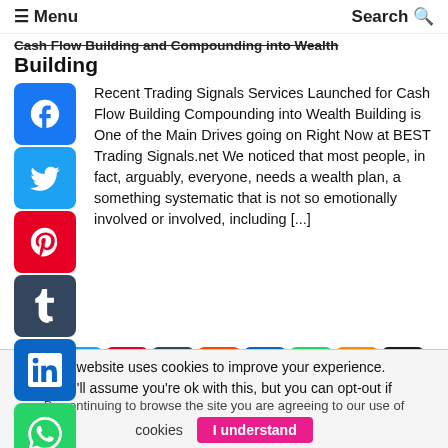≡ Menu    Search Q
Cash Flow Building and Compounding into Wealth Building
Recent Trading Signals Services Launched for Cash Flow Building Compounding into Wealth Building is One of the Main Drives going on Right Now at BEST Trading Signals.net We noticed that most people, in fact, arguably, everyone, needs a wealth plan, a something systematic that is not so emotionally involved or involved, including [...]
[Figure (infographic): Social media share icons rows: Reddit, Twitter, Pinterest, Tumblr, Reddit, LinkedIn, WhatsApp, Blogger, Buffer, Copy; second row: LinkedIn, Mail, Print, More]
This website uses cookies to improve your experience. We'll assume you're ok with this, but you can opt-out if By continuing to browse the site you are agreeing to our use of cookies
I understand